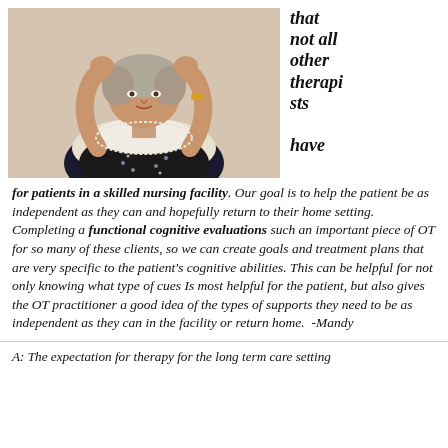[Figure (photo): Elderly woman with hands raised near her face, wearing a dark floral top with a white lace collar/shawl]
that not all other therapists have
for patients in a skilled nursing facility. Our goal is to help the patient be as independent as they can and hopefully return to their home setting. Completing a functional cognitive evaluations such an important piece of OT for so many of these clients, so we can create goals and treatment plans that are very specific to the patient's cognitive abilities. This can be helpful for not only knowing what type of cues Is most helpful for the patient, but also gives the OT practitioner a good idea of the types of supports they need to be as independent as they can in the facility or return home.  -Mandy
A: The expectation for therapy for the long term care setting